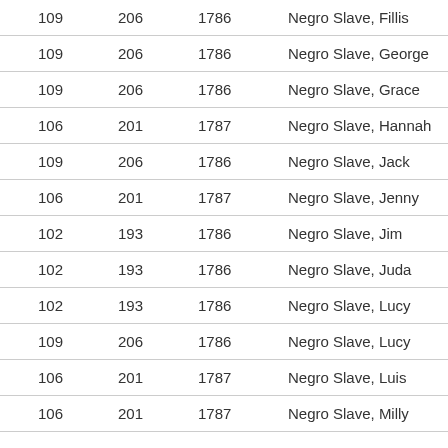| 109 | 206 | 1786 | Negro Slave, Fillis |
| 109 | 206 | 1786 | Negro Slave, George |
| 109 | 206 | 1786 | Negro Slave, Grace |
| 106 | 201 | 1787 | Negro Slave, Hannah |
| 109 | 206 | 1786 | Negro Slave, Jack |
| 106 | 201 | 1787 | Negro Slave, Jenny |
| 102 | 193 | 1786 | Negro Slave, Jim |
| 102 | 193 | 1786 | Negro Slave, Juda |
| 102 | 193 | 1786 | Negro Slave, Lucy |
| 109 | 206 | 1786 | Negro Slave, Lucy |
| 106 | 201 | 1787 | Negro Slave, Luis |
| 106 | 201 | 1787 | Negro Slave, Milly |